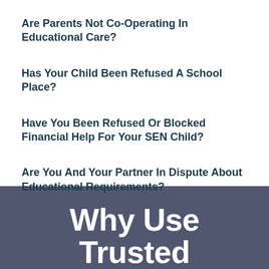Are Parents Not Co-Operating In Educational Care?
Has Your Child Been Refused A School Place?
Have You Been Refused Or Blocked Financial Help For Your SEN Child?
Are You And Your Partner In Dispute About Educational Requirements?
Why Use Trusted